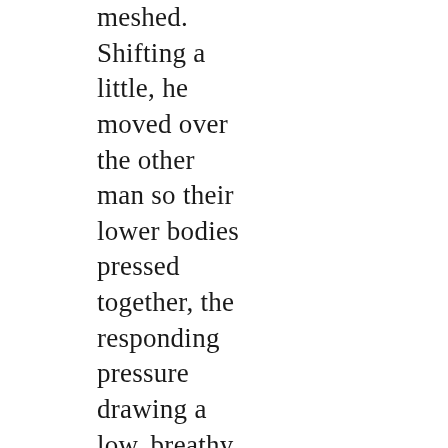meshed. Shifting a little, he moved over the other man so their lower bodies pressed together, the responding pressure drawing a low, breathy moan from him.